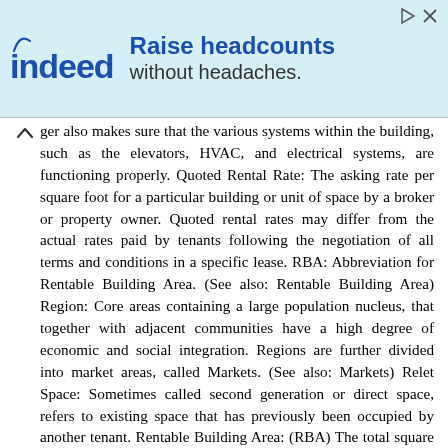[Figure (other): Indeed advertisement banner: 'Raise headcounts without headaches.' with Indeed logo on teal/light blue background]
ger also makes sure that the various systems within the building, such as the elevators, HVAC, and electrical systems, are functioning properly. Quoted Rental Rate: The asking rate per square foot for a particular building or unit of space by a broker or property owner. Quoted rental rates may differ from the actual rates paid by tenants following the negotiation of all terms and conditions in a specific lease. RBA: Abbreviation for Rentable Building Area. (See also: Rentable Building Area) Region: Core areas containing a large population nucleus, that together with adjacent communities have a high degree of economic and social integration. Regions are further divided into market areas, called Markets. (See also: Markets) Relet Space: Sometimes called second generation or direct space, refers to existing space that has previously been occupied by another tenant. Rentable Building Area: (RBA) The total square footage of a building that can be occupied by, or assigned to a tenant for the purpose of determining a tenant s rental obligation. Generally RBA includes a